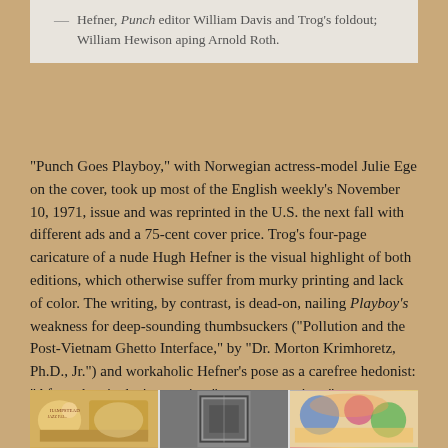— Hefner, Punch editor William Davis and Trog's foldout; William Hewison aping Arnold Roth.
“Punch Goes Playboy,” with Norwegian actress-model Julie Ege on the cover, took up most of the English weekly’s November 10, 1971, issue and was reprinted in the U.S. the next fall with different ads and a 75-cent cover price. Trog’s four-page caricature of a nude Hugh Hefner is the visual highlight of both editions, which otherwise suffer from murky printing and lack of color. The writing, by contrast, is dead-on, nailing Playboy’s weakness for deep-sounding thumbsuckers (“Pollution and the Post-Vietnam Ghetto Interface,” by “Dr. Morton Krimhoretz, Ph.D., Jr.”) and workaholic Hefner’s pose as a carefree hedonist: “After a hectic day’s counting,” says one caption, “our November Playmate relaxes among his matchless collection of early American balance sheets.”
[Figure (illustration): Three illustrations/images shown side by side at the bottom of the page: a colorful cartoon/caricature scene on the left, a black and white photograph in the center, and a colorful illustrated scene on the right.]